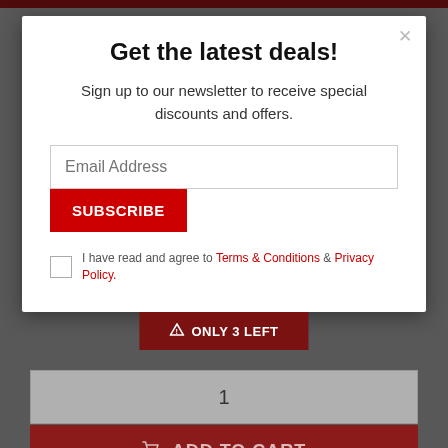Get the latest deals!
Sign up to our newsletter to receive special discounts and offers.
Email Address
SUBSCRIBE
I have read and agree to Terms & Conditions & Privacy Policy.
⚠ ONLY 3 LEFT
1
🛒 ADD TO CART